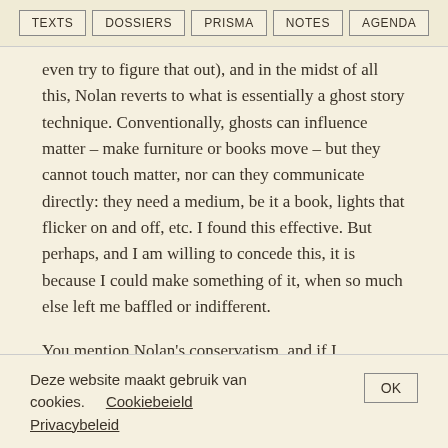TEXTS | DOSSIERS | PRISMA | NOTES | AGENDA
even try to figure that out), and in the midst of all this, Nolan reverts to what is essentially a ghost story technique. Conventionally, ghosts can influence matter – make furniture or books move – but they cannot touch matter, nor can they communicate directly: they need a medium, be it a book, lights that flicker on and off, etc. I found this effective. But perhaps, and I am willing to concede this, it is because I could make something of it, when so much else left me baffled or indifferent.
You mention Nolan's conservatism, and if I understand your point correctly, you see this in the fact that Nolan, far from complicating or exposing post-9/11 paranoia, preys on and
Deze website maakt gebruik van cookies.  Cookiebeleid Privacybeleid